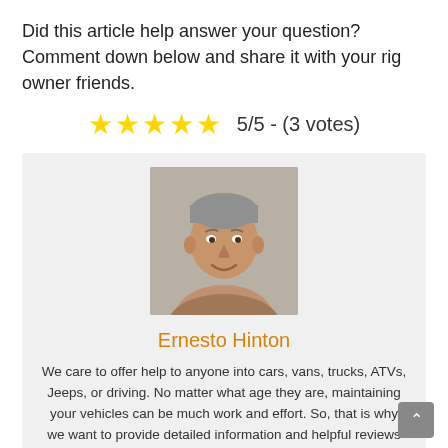Did this article help answer your question? Comment down below and share it with your rig owner friends.
[Figure (infographic): 5 gold stars rating display with text '5/5 - (3 votes)']
[Figure (photo): Headshot photo of a middle-aged man with short gray hair, smiling, against a light gray background]
Ernesto Hinton
We care to offer help to anyone into cars, vans, trucks, ATVs, Jeeps, or driving. No matter what age they are, maintaining your vehicles can be much work and effort. So, that is why we want to provide detailed information and helpful reviews for people, especially beginners.